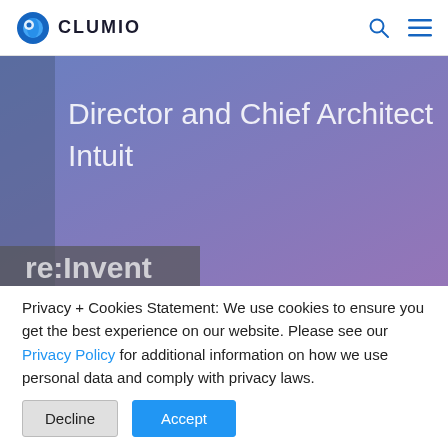CLUMIO
[Figure (screenshot): Hero image with gradient background (blue to purple) showing text 'Director and Chief Architect Intuit' and partial text 're:Invent' at the bottom]
Privacy + Cookies Statement: We use cookies to ensure you get the best experience on our website. Please see our Privacy Policy for additional information on how we use personal data and comply with privacy laws.
Decline  Accept